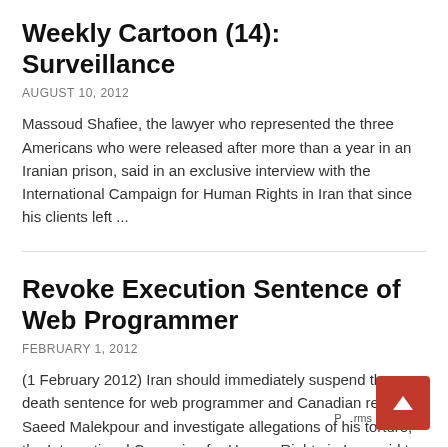Weekly Cartoon (14): Surveillance
AUGUST 10, 2012
Massoud Shafiee, the lawyer who represented the three Americans who were released after more than a year in an Iranian prison, said in an exclusive interview with the International Campaign for Human Rights in Iran that since his clients left ...
Revoke Execution Sentence of Web Programmer
FEBRUARY 1, 2012
(1 February 2012) Iran should immediately suspend the death sentence for web programmer and Canadian resident Saeed Malekpour and investigate allegations of his torture, the International Campaign for Human Rights in Iran said to